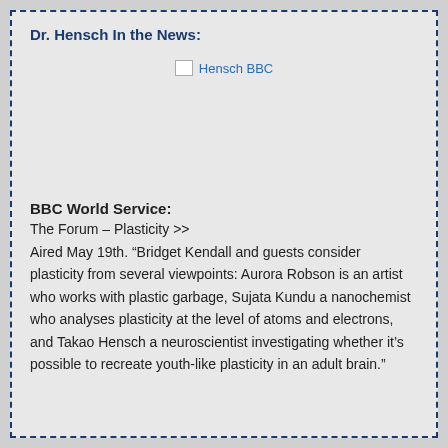Dr. Hensch In the News:
[Figure (other): Broken image placeholder labeled 'Hensch BBC']
BBC World Service:
The Forum – Plasticity >>
Aired May 19th. “Bridget Kendall and guests consider plasticity from several viewpoints: Aurora Robson is an artist who works with plastic garbage, Sujata Kundu a nanochemist who analyses plasticity at the level of atoms and electrons, and Takao Hensch a neuroscientist investigating whether it’s possible to recreate youth-like plasticity in an adult brain.”